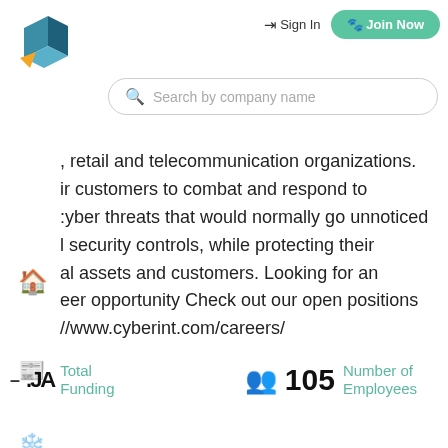[Figure (logo): Company logo with blue/teal 3D cube shape and orange arrow element]
Sign In  Join Now  Search by company name
, retail and telecommunication organizations. ir customers to combat and respond to :yber threats that would normally go unnoticed l security controls, while protecting their al assets and customers. Looking for an eer opportunity Check out our open positions //www.cyberint.com/careers/
N/A
– .JA  Total Funding   105  Number of Employees